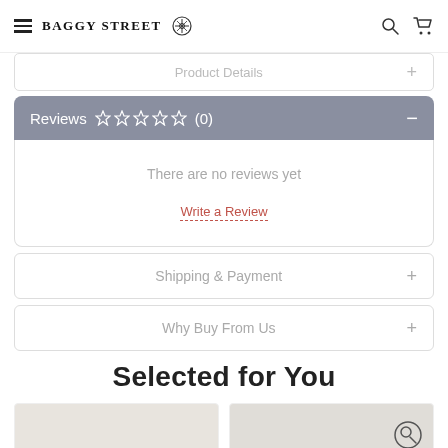Baggy Street
Product Details
Reviews ☆☆☆☆☆ (0)
There are no reviews yet
Write a Review
Shipping & Payment
Why Buy From Us
Selected for You